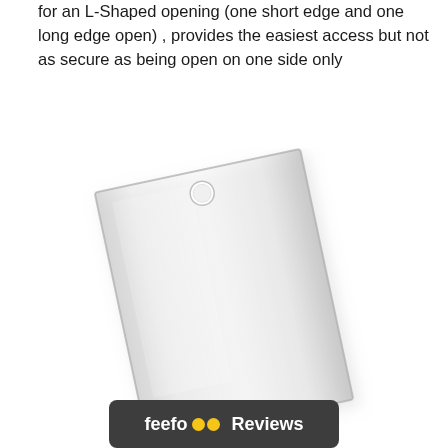for an L-Shaped opening (one short edge and one long edge open) , provides the easiest access but not as secure as being open on one side only
[Figure (photo): A clear/transparent plastic sleeve or card holder photographed at a slight angle, showing a rectangular polypropylene sleeve with a small circular hole punch at the top center. The sleeve is nearly transparent with slight grey shadows, displayed on a white background.]
[Figure (logo): Feefo Reviews logo displayed in a dark rounded rectangle banner. Shows 'feefo' text with two yellow circle emoji-style eyes, followed by 'Reviews' text, all in white/yellow on dark grey background.]